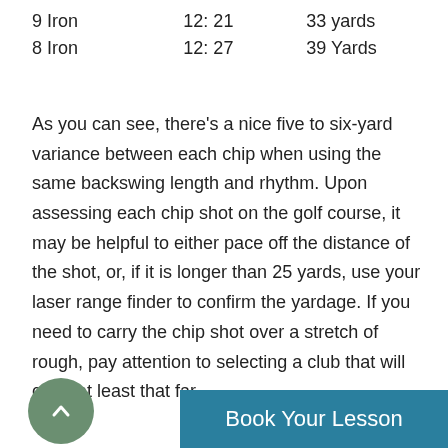| 9 Iron | 12: 21 | 33 yards |
| 8 Iron | 12: 27 | 39 Yards |
As you can see, there's a nice five to six-yard variance between each chip when using the same backswing length and rhythm. Upon assessing each chip shot on the golf course, it may be helpful to either pace off the distance of the shot, or, if it is longer than 25 yards, use your laser range finder to confirm the yardage. If you need to carry the chip shot over a stretch of rough, pay attention to selecting a club that will carry at least that far.
[Figure (other): A circular back/up arrow button in muted green, and a teal 'Book Your Lesson' button partially visible at the bottom of the page.]